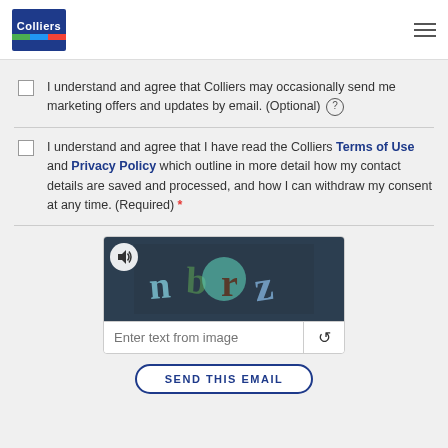[Figure (logo): Colliers logo — blue box with 'Colliers' text and colored stripes (green, blue, red)]
I understand and agree that Colliers may occasionally send me marketing offers and updates by email. (Optional) ?
I understand and agree that I have read the Colliers Terms of Use and Privacy Policy which outline in more detail how my contact details are saved and processed, and how I can withdraw my consent at any time. (Required) *
[Figure (screenshot): CAPTCHA widget with distorted text image showing 'nbrz' and an audio icon button, plus a text input field with 'Enter text from image' placeholder and a reload button]
SEND THIS EMAIL